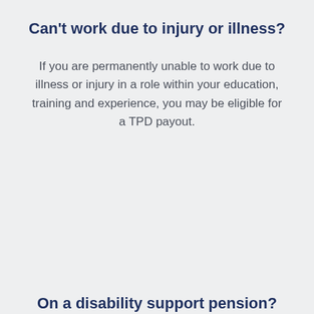Can't work due to injury or illness?
If you are permanently unable to work due to illness or injury in a role within your education, training and experience, you may be eligible for a TPD payout.
On a disability support pension?